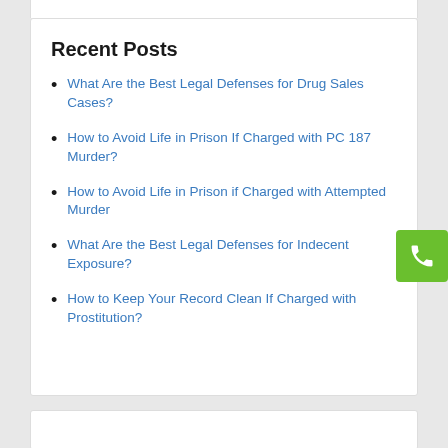Recent Posts
What Are the Best Legal Defenses for Drug Sales Cases?
How to Avoid Life in Prison If Charged with PC 187 Murder?
How to Avoid Life in Prison if Charged with Attempted Murder
What Are the Best Legal Defenses for Indecent Exposure?
How to Keep Your Record Clean If Charged with Prostitution?